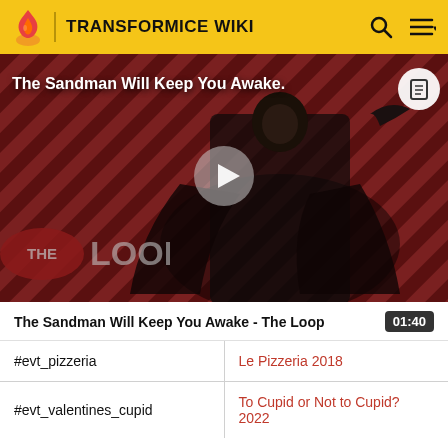TRANSFORMICE WIKI
[Figure (screenshot): Video thumbnail for 'The Sandman Will Keep You Awake - The Loop' showing a dark-robed figure against a red and dark diagonal striped background, with 'THE LOOP' branding overlay and a play button in the center.]
The Sandman Will Keep You Awake - The Loop  01:40
| #evt_pizzeria | Le Pizzeria 2018 |
| #evt_valentines_cupid | To Cupid or Not to Cupid? 2022 |